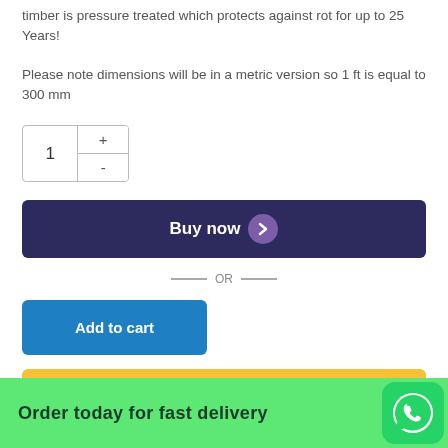timber is pressure treated which protects against rot for up to 25 Years!
Please note dimensions will be in a metric version so 1 ft is equal to 300 mm
[Figure (other): Quantity selector with number 1 and plus/minus buttons]
[Figure (other): Buy now button with chevron arrow]
— OR —
[Figure (other): Add to cart blue button]
[Figure (other): PayPal payment button in yellow]
Order today for fast delivery